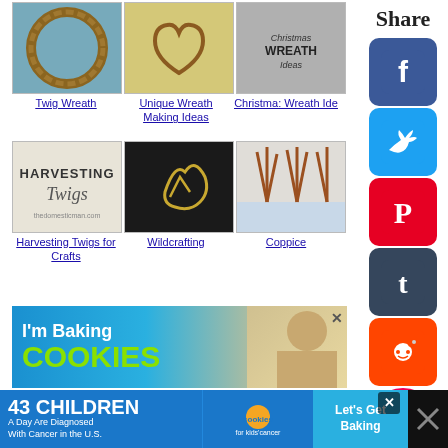[Figure (photo): Three wreath/craft images: twig wreath on blue door, heart-shaped twig on wood, Christmas wreath ideas text]
Twig Wreath
Unique Wreath Making Ideas
Christmas Wreath Ideas
[Figure (photo): Three craft images: Harvesting Twigs text graphic, antler wildcrafting photo, coppice branches in snow]
Harvesting Twigs for Crafts
Wildcrafting
Coppice
[Figure (screenshot): Share sidebar with Facebook, Twitter, Pinterest, Tumblr, Reddit social buttons and heart badge with count 1]
[Figure (photo): Advertisement: I'm Baking COOKIES with photo of child]
[Figure (screenshot): Bottom ad bar: 43 CHILDREN A Day Are Diagnosed With Cancer in the U.S. - cookies for kids cancer - Let's Get Baking]